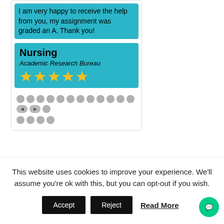I am very happy to receive the help from you, my assignment was graded an A. Thank you!
Nursing
Academic Research Bureau
[Figure (other): Five yellow star rating icons]
[Figure (other): Pagination dots with forward/back arrows]
[Figure (other): Loading spinner graphic]
This website uses cookies to improve your experience. We'll assume you're ok with this, but you can opt-out if you wish.
Accept  Reject  Read More